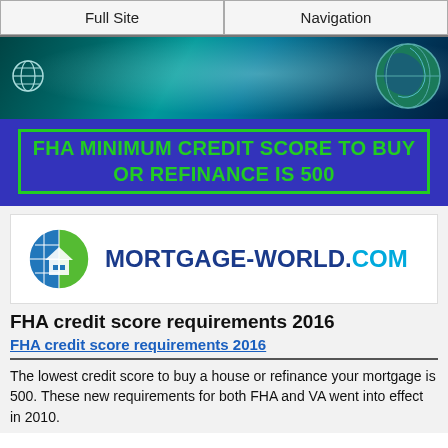Full Site | Navigation
[Figure (illustration): Website banner with teal/dark gradient background, globe icon on left, large globe on right, light rays effect]
FHA MINIMUM CREDIT SCORE TO BUY OR REFINANCE IS 500
[Figure (logo): Mortgage-World.com logo with globe/house icon on left and text MORTGAGE-WORLD.COM]
FHA credit score requirements 2016
FHA credit score requirements 2016
The lowest credit score to buy a house or refinance your mortgage is 500. These new requirements for both FHA and VA went into effect in 2010.